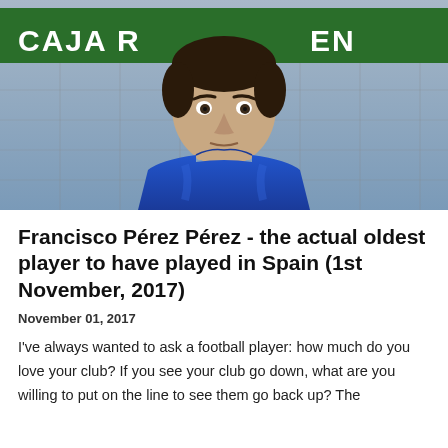[Figure (photo): A man wearing a blue sports shirt photographed in front of a green fence with sponsor text 'CAJA R...' and 'EN' visible in the background. He appears to be a football player.]
Francisco Pérez Pérez - the actual oldest player to have played in Spain (1st November, 2017)
November 01, 2017
I've always wanted to ask a football player: how much do you love your club? If you see your club go down, what are you willing to put on the line to see them go back up? The